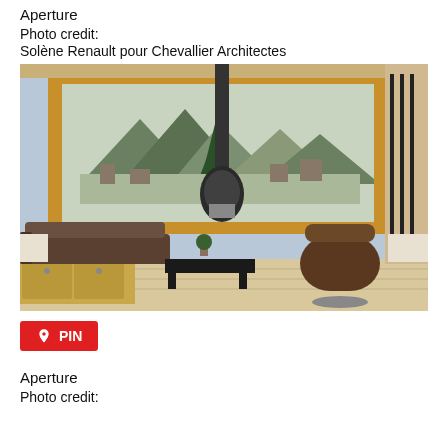Aperture
Photo credit:
Solène Renault pour Chevallier Architectes
[Figure (photo): Interior of a modern alpine chalet living room with large floor-to-ceiling windows framed in wood, showing a mountain forest view, a suspended black wood-burning stove, leather sofa and armchair, coffee table, and wood cabinetry. Natural light fills the room.]
PIN
Aperture
Photo credit: